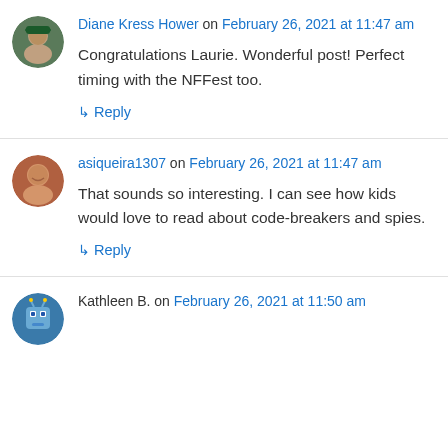Diane Kress Hower on February 26, 2021 at 11:47 am
Congratulations Laurie. Wonderful post! Perfect timing with the NFFest too.
↳ Reply
asiqueira1307 on February 26, 2021 at 11:47 am
That sounds so interesting. I can see how kids would love to read about code-breakers and spies.
↳ Reply
Kathleen B. on February 26, 2021 at 11:50 am